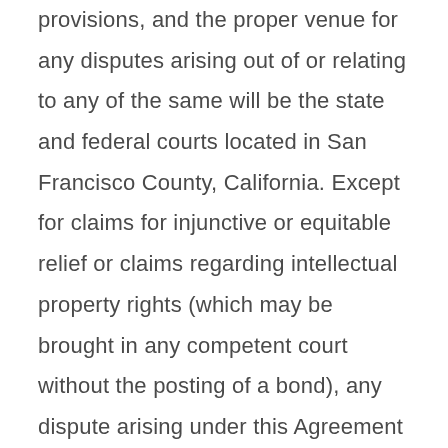provisions, and the proper venue for any disputes arising out of or relating to any of the same will be the state and federal courts located in San Francisco County, California. Except for claims for injunctive or equitable relief or claims regarding intellectual property rights (which may be brought in any competent court without the posting of a bond), any dispute arising under this Agreement shall be finally settled in accordance with the Comprehensive Arbitration Rules of the Judicial Arbitration and Mediation Services, Inc. ("JAMS"),